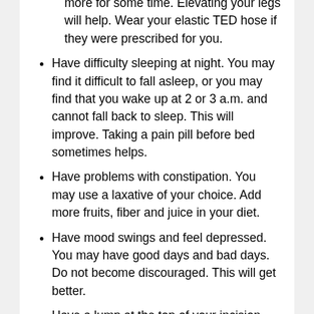more for some time. Elevating your legs will help. Wear your elastic TED hose if they were prescribed for you.
Have difficulty sleeping at night. You may find it difficult to fall asleep, or you may find that you wake up at 2 or 3 a.m. and cannot fall back to sleep. This will improve. Taking a pain pill before bed sometimes helps.
Have problems with constipation. You may use a laxative of your choice. Add more fruits, fiber and juice in your diet.
Have mood swings and feel depressed. You may have good days and bad days. Do not become discouraged. This will get better.
Have a lump at the top of your incision. This will disappear with time.
Notice an occasional clicking noise or sensation in your chest in the first days after